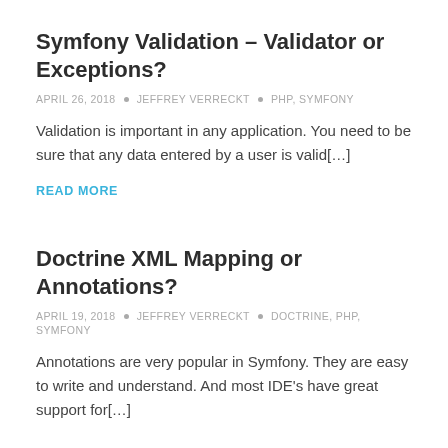Symfony Validation – Validator or Exceptions?
APRIL 26, 2018  •  JEFFREY VERRECKT  •  PHP, SYMFONY
Validation is important in any application. You need to be sure that any data entered by a user is valid[…]
READ MORE
Doctrine XML Mapping or Annotations?
APRIL 19, 2018  •  JEFFREY VERRECKT  •  DOCTRINE, PHP, SYMFONY
Annotations are very popular in Symfony. They are easy to write and understand. And most IDE's have great support for[…]